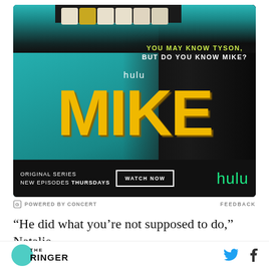[Figure (photo): Hulu advertisement for the original series 'MIKE'. Shows a close-up of a man's mouth with a gold tooth, against a teal background. Text reads 'YOU MAY KNOW TYSON, BUT DO YOU KNOW MIKE?' with the Hulu logo and large yellow 'MIKE' title text. Bottom bar shows 'ORIGINAL SERIES NEW EPISODES THURSDAYS', a 'WATCH NOW' button, and the Hulu logo in green.]
POWERED BY CONCERT    FEEDBACK
“He did what you’re not supposed to do,” Natalie
says, “which is bring attention to yourself in a
THE RINGER